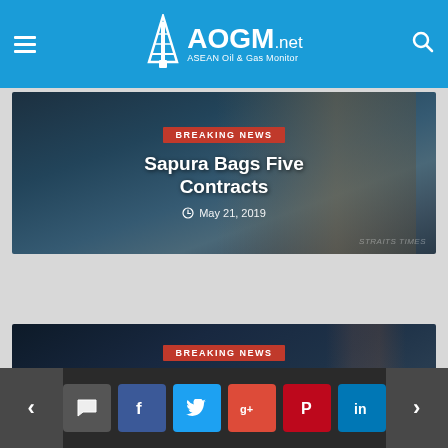AOGM.net — ASEAN Oil & Gas Monitor
[Figure (screenshot): Article card with oil rig image showing 'Sapura Bags Five Contracts' with BREAKING NEWS badge and date May 21, 2019]
[Figure (screenshot): Article card with offshore platform image showing 'Velesto bags four contracts worth US$104.68m from Petronas Carigali' with BREAKING NEWS badge and Velesto energy logo]
Navigation bar with previous/next arrows and social share buttons: comment, Facebook, Twitter, Google+, Pinterest, LinkedIn